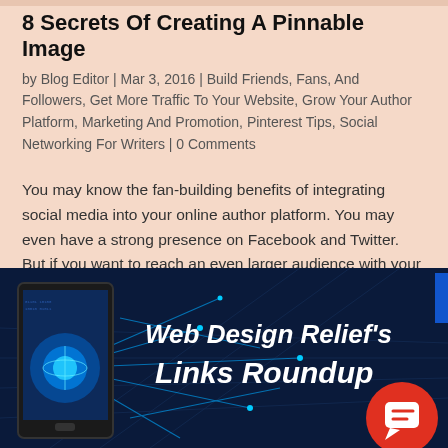8 Secrets Of Creating A Pinnable Image
by Blog Editor | Mar 3, 2016 | Build Friends, Fans, And Followers, Get More Traffic To Your Website, Grow Your Author Platform, Marketing And Promotion, Pinterest Tips, Social Networking For Writers | 0 Comments
You may know the fan-building benefits of integrating social media into your online author platform. You may even have a strong presence on Facebook and Twitter. But if you want to reach an even larger audience with your writing, consider starting a Pinterest board!...
[Figure (illustration): Banner image for Web Design Relief's Links Roundup showing a dark blue background with a tablet device on the left displaying a glowing blue globe and network lines, with bold white italic text reading 'Web Design Relief's Links Roundup' on the right side. An orange circular chat button appears in the bottom right corner.]